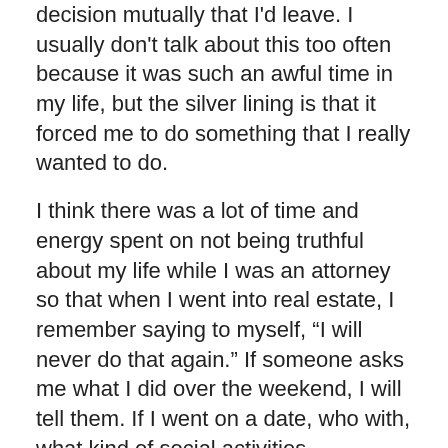decision mutually that I'd leave. I usually don't talk about this too often because it was such an awful time in my life, but the silver lining is that it forced me to do something that I really wanted to do.
I think there was a lot of time and energy spent on not being truthful about my life while I was an attorney so that when I went into real estate, I remember saying to myself, “I will never do that again.” If someone asks me what I did over the weekend, I will tell them. If I went on a date, who with, what kind of social activities.
That was my decision to be out at work. I then had to make a second decision — do I want to be out in front of my clients. And that was a harder decision for me and took a bit longer. You spend more time with your colleagues, so you really have a sense of them as people. With clients, there are a lot of new introductions. I told myself that the service I provide with a client has nothing to do with who I am as a person beyond being a